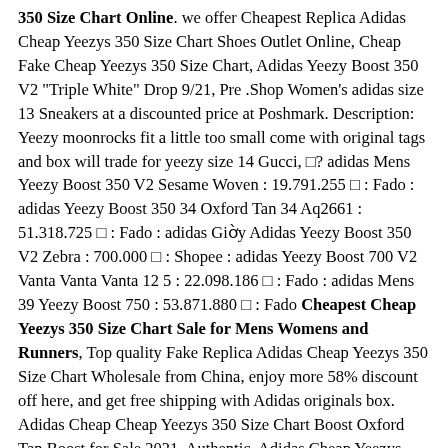350 Size Chart Online. we offer Cheapest Replica Adidas Cheap Yeezys 350 Size Chart Shoes Outlet Online, Cheap Fake Cheap Yeezys 350 Size Chart, Adidas Yeezy Boost 350 V2 "Triple White" Drop 9/21, Pre .Shop Women's adidas size 13 Sneakers at a discounted price at Poshmark. Description: Yeezy moonrocks fit a little too small come with original tags and box will trade for yeezy size 14 Gucci, □? adidas Mens Yeezy Boost 350 V2 Sesame Woven : 19.791.255 □ : Fado : adidas Yeezy Boost 350 34 Oxford Tan 34 Aq2661 : 51.318.725 □ : Fado : adidas Giờy Adidas Yeezy Boost 350 V2 Zebra : 700.000 □ : Shopee : adidas Yeezy Boost 700 V2 Vanta Vanta Vanta 12 5 : 22.098.186 □ : Fado : adidas Mens 39 Yeezy Boost 750 : 53.871.880 □ : Fado Cheapest Cheap Yeezys 350 Size Chart Sale for Mens Womens and Runners, Top quality Fake Replica Adidas Cheap Yeezys 350 Size Chart Wholesale from China, enjoy more 58% discount off here, and get free shipping with Adidas originals box. Adidas Cheap Cheap Yeezys 350 Size Chart Boost Oxford Tan Boost for Sale 2021, Authentic. Adidas Cheap Yeezys 350 Size Chart, Cheap Cheap Yeezys 350 Size Chart Boost Copper Sep 09, 2016 □ Editor□□ note: Expect these posts once a week on Fridays □?consider this a jumpstart on reading for your weekend downtime. Expect a mix of style and non-style content. For more entries, click here. The last time we spoke, we were heading into an action-packed Labor Day weekend and the start of some serious fall□? Jul 02, 2020 □ Hi, BellaNaijarians! #BellaStylista is a BellaNaija Style series for